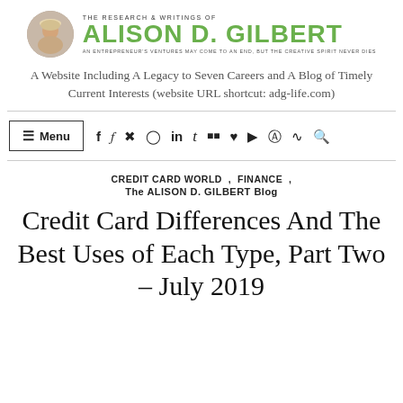[Figure (logo): Header logo with circular portrait photo of Alison D. Gilbert and green bold text 'ALISON D. GILBERT' with tagline 'THE RESEARCH & WRITINGS OF' and 'AN ENTREPRENEUR'S VENTURES MAY COME TO AN END, BUT THE CREATIVE SPIRIT NEVER DIES']
A Website Including A Legacy to Seven Careers and A Blog of Timely Current Interests (website URL shortcut: adg-life.com)
≡ Menu  f  y   pinterest  instagram  in  t  flickr  heart  youtube  wordpress  rss  search
CREDIT CARD WORLD , FINANCE , The ALISON D. GILBERT Blog
Credit Card Differences And The Best Uses of Each Type, Part Two – July 2019